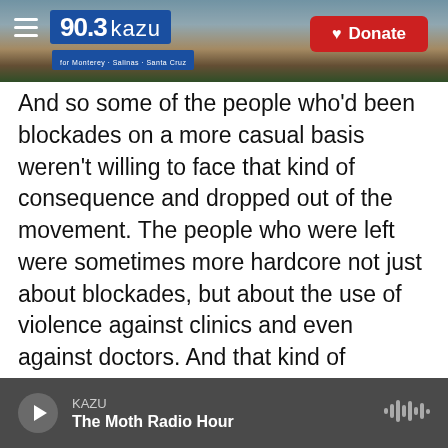[Figure (screenshot): KAZU 90.3 radio station header with logo and Donate button over a coastal landscape background]
And so some of the people who'd been involved in blockades on a more casual basis weren't willing to face that kind of consequence and dropped out of the movement. The people who were left were sometimes more hardcore not just about blockades, but about the use of violence against clinics and even against doctors. And that kind of radicalization turned off some people from the blockade movement, delegitimized it in the eyes of many. And it, for a time, seems to have faded away. Some of the people who were involved in the clinic blockade movement are the ones today who'd see themselves as abolitionists and are calling for
KAZU / The Moth Radio Hour